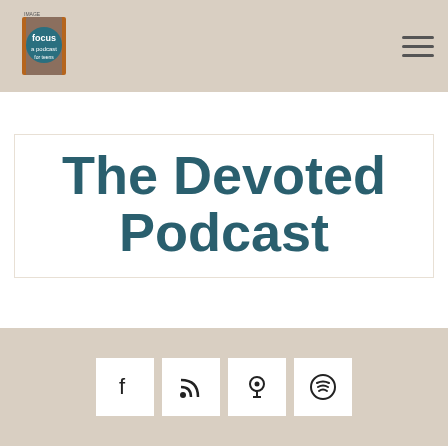[Figure (logo): Image Focus podcast logo with book cover graphic in top-left nav area]
The Devoted Podcast
[Figure (infographic): Social sharing icons bar with Facebook, RSS feed, Podcast/Apple Podcasts, and Spotify buttons on tan background]
Episode Four| Devoted Community
[Figure (screenshot): Audio player widget showing THE DEVOTED PODCAST, Episode Four| Devoted Community with play button, progress bar, time display 00:00:00, and bottom control icons for RSS, download, embed code, and cookie/settings]